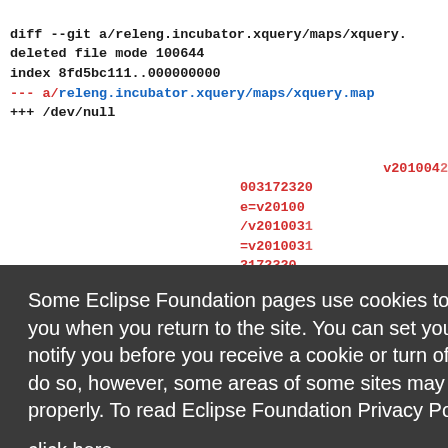diff --git a/releng.incubator.xquery/maps/xquery.
deleted file mode 100644
index 8fd5bc111..000000000
--- a/releng.incubator.xquery/maps/xquery.map
+++ /dev/null
/201004217...
...003172320...
e=v20100317...
/v20100317...
=v20100317...
3172320,,...
320,:pse...
ature=v20...
k.feature...
ugger.zo...
zorba=v20...
.zorba=v...
plugin@org.eclipse.activexquery.relatingzorba /v20100317...
plugin@com.google.gson=v201003172320,+parsecu...
Some Eclipse Foundation pages use cookies to better serve you when you return to the site. You can set your browser to notify you before you receive a cookie or turn off cookies. If you do so, however, some areas of some sites may not function properly. To read Eclipse Foundation Privacy Policy
click here.
Decline
Allow cookies